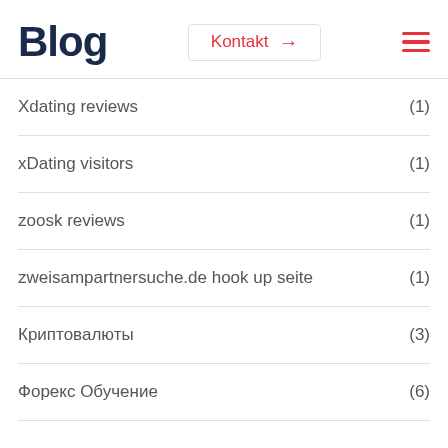Blog
Xdating reviews (1)
xDating visitors (1)
zoosk reviews (1)
zweisampartnersuche.de hook up seite (1)
Криптовалюты (3)
Форекс Обучение (6)